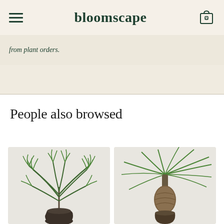bloomscape
from plant orders.
People also browsed
[Figure (photo): Photo of a parlor palm plant with feathery green leaves in a dark pot against a cream background]
[Figure (photo): Photo of a ponytail palm with long drooping leaves and a bulbous brown trunk base in a pot against a cream background]